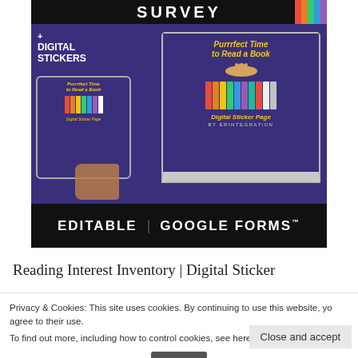[Figure (screenshot): Product image for Reading Interest Inventory Digital Sticker resource. Shows a dark purple/navy background with a laptop mockup displaying 'Purrfect Time to Read a Book - Digital Sticker Page by ERINTEGRATiON', colorful book spines and a sleeping cat illustration. A tablet is visible on the left showing the same content. Text reads 'DIGITAL STICKERS' on left and bottom bar reads 'EDITABLE | GOOGLE FORMS™'. Top bar says 'SURVEY' in large letters with colorful book spines.]
Reading Interest Inventory | Digital Sticker
Privacy & Cookies: This site uses cookies. By continuing to use this website, you agree to their use.
To find out more, including how to control cookies, see here: Cookie Policy
Close and accept